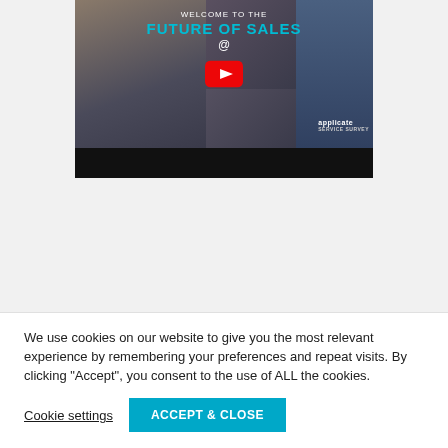[Figure (screenshot): YouTube video thumbnail showing 'Welcome to the Future of Sales @ applicate' with a play button overlay and collage of retail/business images. Below the thumbnail is a black video control bar.]
We use cookies on our website to give you the most relevant experience by remembering your preferences and repeat visits. By clicking "Accept", you consent to the use of ALL the cookies.
Cookie settings
ACCEPT & CLOSE